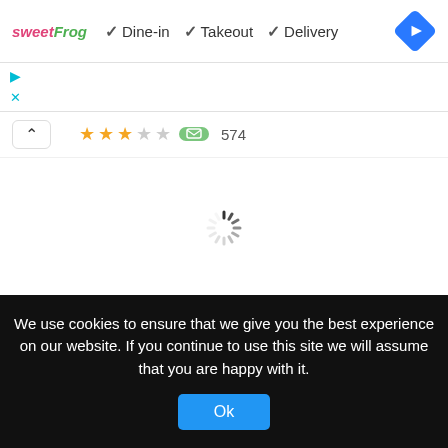[Figure (screenshot): sweetFrog logo followed by checkmark icons for Dine-in, Takeout, Delivery and a blue navigation diamond icon]
[Figure (screenshot): Play and X icon buttons in cyan color]
[Figure (screenshot): Rating bar with up arrow button, star ratings (3 of 5 stars highlighted in orange), green review icon, and review count 574]
[Figure (screenshot): Loading spinner animation in center of white content area]
Bucket Balls
We use cookies to ensure that we give you the best experience on our website. If you continue to use this site we will assume that you are happy with it.